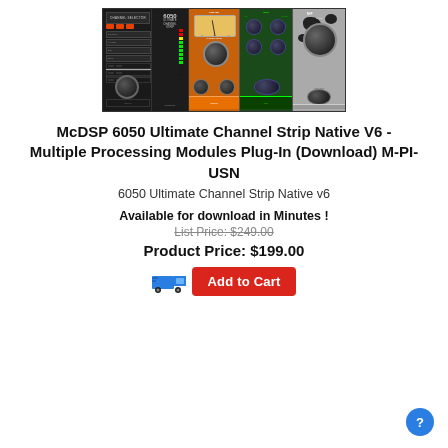[Figure (screenshot): McDSP 6050 Ultimate Channel Strip plugin interface showing multiple processing modules including channel strip, orange-colored compressor with VU meter, green EQ module, black/white patterned module, and a metering section]
McDSP 6050 Ultimate Channel Strip Native V6 - Multiple Processing Modules Plug-In (Download) M-PI-USN
6050 Ultimate Channel Strip Native v6
Available for download in Minutes !
List Price: $249.00
Product Price: $199.00
[Figure (other): Blue truck icon and red Add to Cart button]